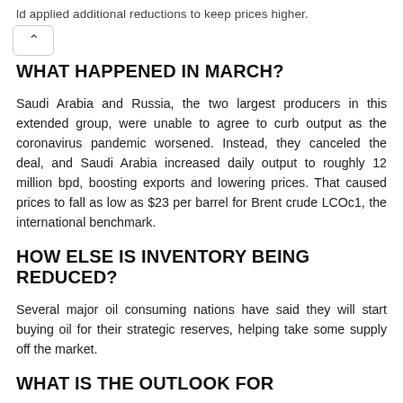ld applied additional reductions to keep prices higher.
WHAT HAPPENED IN MARCH?
Saudi Arabia and Russia, the two largest producers in this extended group, were unable to agree to curb output as the coronavirus pandemic worsened. Instead, they canceled the deal, and Saudi Arabia increased daily output to roughly 12 million bpd, boosting exports and lowering prices. That caused prices to fall as low as $23 per barrel for Brent crude LCOc1, the international benchmark.
HOW ELSE IS INVENTORY BEING REDUCED?
Several major oil consuming nations have said they will start buying oil for their strategic reserves, helping take some supply off the market.
WHAT IS THE OUTLOOK FOR